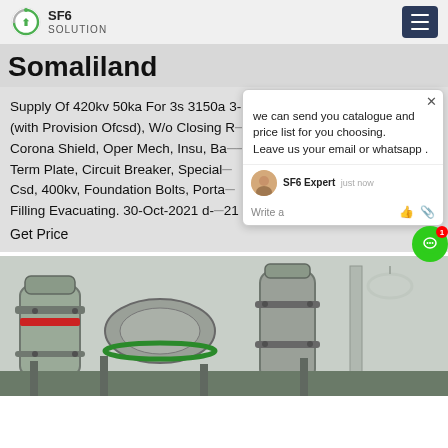SF6 SOLUTION
Somaliland
Supply Of 420kv 50ka For 3s 3150a 3-ph Sf6 Ch (with Provision Ofcsd), W/o Closing ... Corona Shield, Oper Mech, Insu, Ba... v Term Plate, Circuit Breaker, Special Csd, 400kv, Foundation Bolts, Porta Filling Evacuating. 30-Oct-2021 d... 21
Get Price
[Figure (photo): Industrial SF6 circuit breaker equipment — large grey cylindrical gas-insulated switchgear components at a substation.]